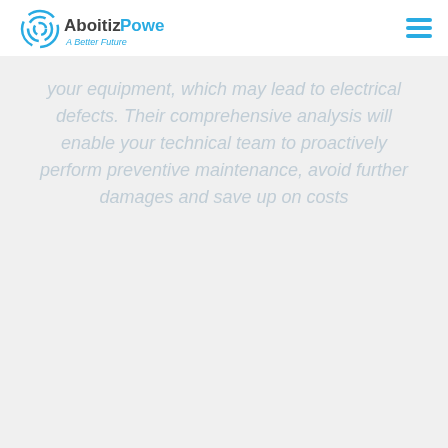AboitizPower — A Better Future
your equipment, which may lead to electrical defects. Their comprehensive analysis will enable your technical team to proactively perform preventive maintenance, avoid further damages and save up on costs